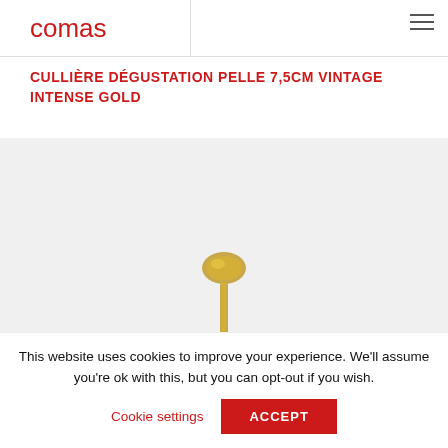comas
CULLIÈRE DÉGUSTATION PELLE 7,5CM VINTAGE INTENSE GOLD
[Figure (photo): A gold vintage tasting spoon (cuillère dégustation pelle) partially visible at the bottom of a light grey product image area]
This website uses cookies to improve your experience. We'll assume you're ok with this, but you can opt-out if you wish. Cookie settings ACCEPT